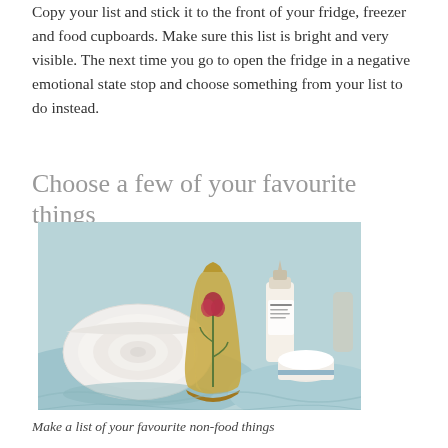Copy your list and stick it to the front of your fridge, freezer and food cupboards. Make sure this list is bright and very visible. The next time you go to open the fridge in a negative emotional state stop and choose something from your list to do instead.
Choose a few of your favourite things
[Figure (photo): A photo of spa-related items: a rolled white towel, a decorative bottle with a dried rose inside, small dropper bottles, and white containers, all arranged on light blue fabric.]
Make a list of your favourite non-food things